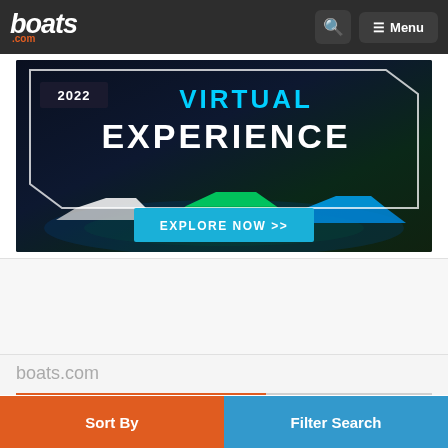boats .com | Search | Menu
[Figure (photo): Advertisement banner for '2022 Virtual Experience' with boats in background and 'EXPLORE NOW >>' button on boats.com website]
boats.com
Sort By
Filter Search